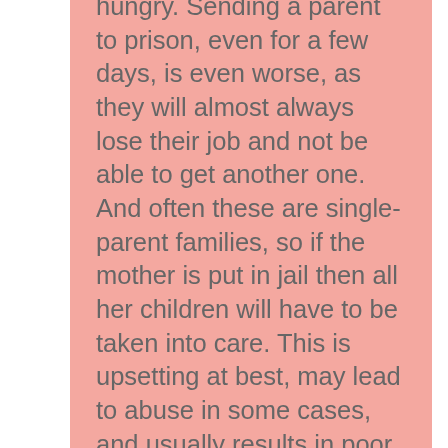hungry. Sending a parent to prison, even for a few days, is even worse, as they will almost always lose their job and not be able to get another one. And often these are single-parent families, so if the mother is put in jail then all her children will have to be taken into care. This is upsetting at best, may lead to abuse in some cases, and usually results in poor education anyway.
Punishments like jail are only used in very unusual cases. Parents who are really making an effort...
[Figure (other): WHAT'S NEXT arrow label with thumbnail image and text 'Corporal Punishment...']